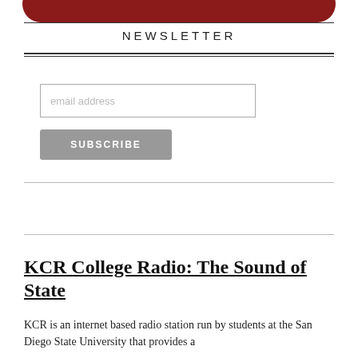[Figure (logo): KCR College Radio logo — red rounded rectangle banner, partially cropped at the top of the page]
NEWSLETTER
email address
SUBSCRIBE
KCR College Radio: The Sound of State
KCR is an internet based radio station run by students at the San Diego State University that provides a...